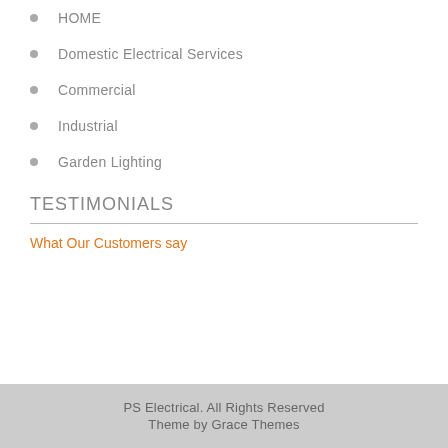HOME
Domestic Electrical Services
Commercial
Industrial
Garden Lighting
TESTIMONIALS
What Our Customers say
PS Electrical. All Rights Reserved
Theme by Grace Themes